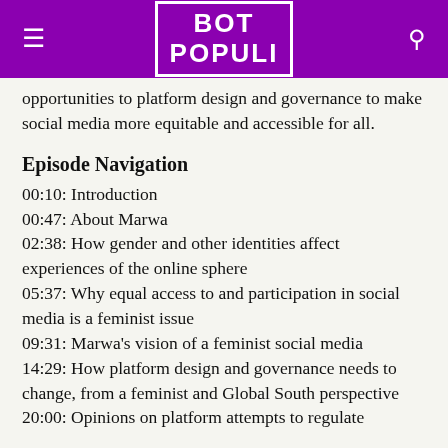BOT POPULI
opportunities to platform design and governance to make social media more equitable and accessible for all.
Episode Navigation
00:10: Introduction
00:47: About Marwa
02:38: How gender and other identities affect experiences of the online sphere
05:37: Why equal access to and participation in social media is a feminist issue
09:31: Marwa's vision of a feminist social media
14:29: How platform design and governance needs to change, from a feminist and Global South perspective
20:00: Opinions on platform attempts to regulate